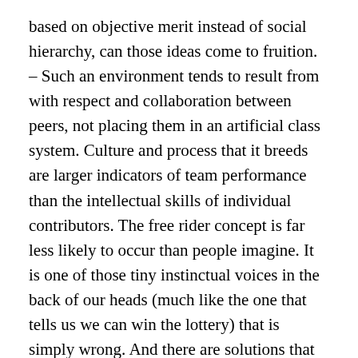based on objective merit instead of social hierarchy, can those ideas come to fruition. – Such an environment tends to result from with respect and collaboration between peers, not placing them in an artificial class system. Culture and process that it breeds are larger indicators of team performance than the intellectual skills of individual contributors. The free rider concept is far less likely to occur than people imagine. It is one of those tiny instinctual voices in the back of our heads (much like the one that tells us we can win the lottery) that is simply wrong. And there are solutions that don\'t involve polluting the entire culture of the company if being a free rider does become an issue. Self managed teams that have the ability to eject a problem member is certainly an option. Get kicked out of enough teams and your time at the company is over. Augment this with coaching as the default management response instead of punishment and even failed teams become an